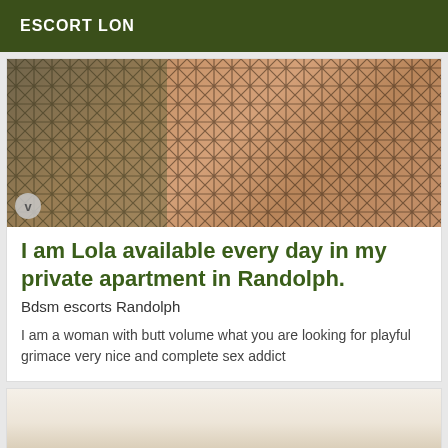ESCORT LON
[Figure (photo): Photo showing legs in fishnet stockings in an outdoor/industrial setting]
I am Lola available every day in my private apartment in Randolph.
Bdsm escorts Randolph
I am a woman with butt volume what you are looking for playful grimace very nice and complete sex addict
[Figure (photo): Partial photo in second card, showing interior background]